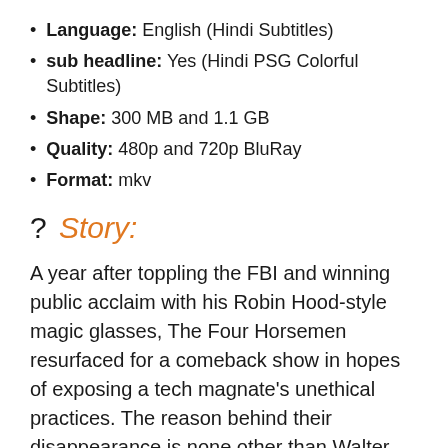Language: English (Hindi Subtitles)
sub headline: Yes (Hindi PSG Colorful Subtitles)
Shape: 300 MB and 1.1 GB
Quality: 480p and 720p BluRay
Format: mkv
? Story:
A year after toppling the FBI and winning public acclaim with his Robin Hood-style magic glasses, The Four Horsemen resurfaced for a comeback show in hopes of exposing a tech magnate’s unethical practices. The reason behind their disappearance is none other than Walter Mabry, a tech prodigy, who threatens the Horsemen to pull off their most impossible